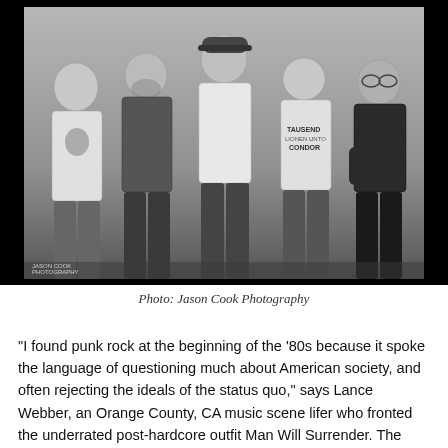[Figure (photo): Black and white photo of five men standing against a textured wall. They are wearing t-shirts and casual clothing. Photo credit: Jason Cook Photography.]
Photo: Jason Cook Photography
"I found punk rock at the beginning of the '80s because it spoke the language of questioning much about American society, and often rejecting the ideals of the status quo," says Lance Webber, an Orange County, CA music scene lifer who fronted the underrated post-hardcore outfit Man Will Surrender. The vocalist recently combined his talents with Joe D. Foster (Unity, Ignite, Speak 714), John Coyle (Outspoken, Kill the Messenger), John Leroy (Unity, Blood...